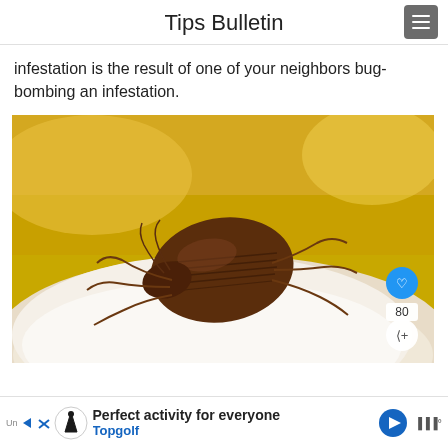Tips Bulletin
infestation is the result of one of your neighbors bug-bombing an infestation.
[Figure (photo): Close-up macro photograph of a brown bed bug on a white surface with a yellow background]
Perfect activity for everyone Topgolf